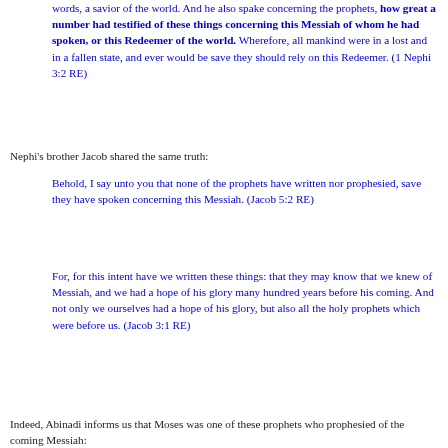words, a savior of the world. And he also spake concerning the prophets, how great a number had testified of these things concerning this Messiah of whom he had spoken, or this Redeemer of the world. Wherefore, all mankind were in a lost and in a fallen state, and ever would be save they should rely on this Redeemer. (1 Nephi 3:2 RE)
Nephi's brother Jacob shared the same truth:
Behold, I say unto you that none of the prophets have written nor prophesied, save they have spoken concerning this Messiah. (Jacob 5:2 RE)
For, for this intent have we written these things: that they may know that we knew of Messiah, and we had a hope of his glory many hundred years before his coming. And not only we ourselves had a hope of his glory, but also all the holy prophets which were before us. (Jacob 3:1 RE)
Indeed, Abinadi informs us that Moses was one of these prophets who prophesied of the coming Messiah: